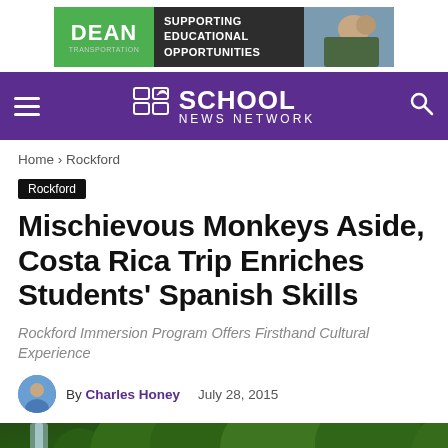[Figure (photo): Dean Transportation advertisement banner: green and dark background with 'DEAN' logo and text 'Supporting Educational Opportunities', with photo of students on a bus]
School News Network
Home › Rockford
Rockford
Mischievous Monkeys Aside, Costa Rica Trip Enriches Students' Spanish Skills
Rockford Immersion Program Offers Firsthand Cultural Experience
By Charles Honey   July 28, 2015
[Figure (photo): Aerial photo of a waterfall surrounded by dense green tropical forest in Costa Rica]